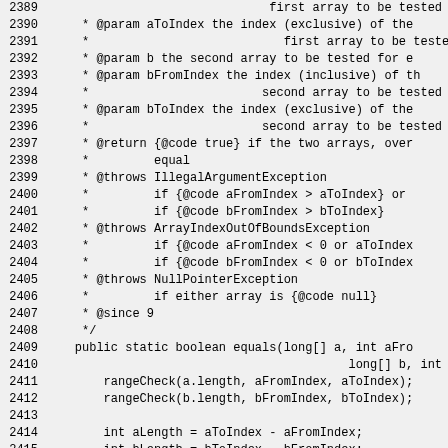Code listing lines 2389-2419, showing Java source code with Javadoc comments and method definition for public static boolean equals(long[] a, int aFromIndex, long[] b, int bFromIndex) with rangeCheck calls and array length comparison logic.